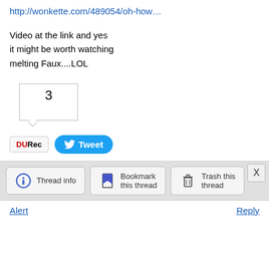http://wonkette.com/489054/oh-how…
Video at the link and yes
it might be worth watching
melting Faux....LOL
3
[Figure (screenshot): DU Rec button (white with DU in red/black and Rec text) and Tweet button (blue rounded with Twitter bird icon)]
[Figure (screenshot): Toolbar with Thread info, Bookmark this thread, and Trash this thread buttons]
Alert    Reply